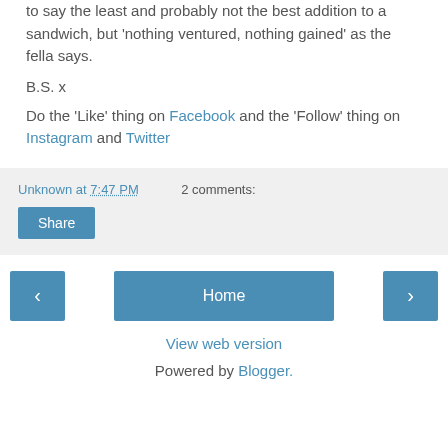to say the least and probably not the best addition to a sandwich, but 'nothing ventured, nothing gained' as the fella says.
B.S. x
Do the 'Like' thing on Facebook and the 'Follow' thing on Instagram and Twitter
Unknown at 7:47 PM   2 comments:
Share
‹
Home
›
View web version
Powered by Blogger.